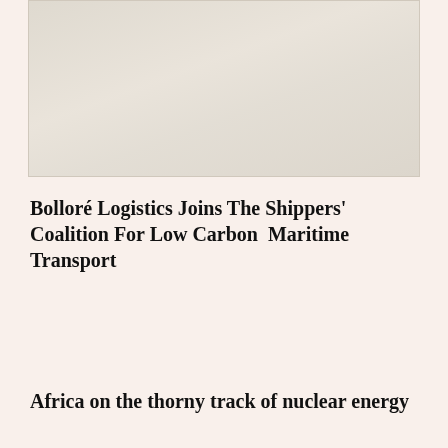[Figure (photo): A light-toned photograph showing a water or sky scene with muted, washed-out tones in beige and grey.]
Bolloré Logistics Joins The Shippers' Coalition For Low Carbon  Maritime Transport
Africa on the thorny track of nuclear energy